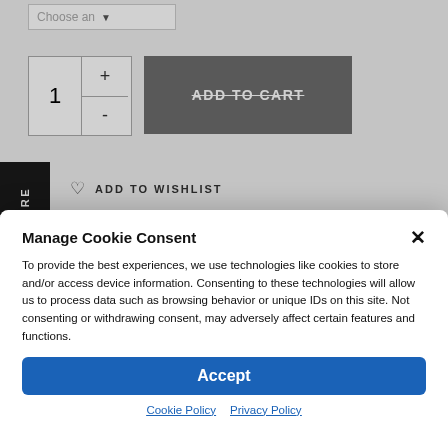[Figure (screenshot): E-commerce product page background showing a dropdown selector, quantity selector with plus/minus buttons, an Add to Cart button with strikethrough text, a Share sidebar, and an Add to Wishlist button.]
Manage Cookie Consent
To provide the best experiences, we use technologies like cookies to store and/or access device information. Consenting to these technologies will allow us to process data such as browsing behavior or unique IDs on this site. Not consenting or withdrawing consent, may adversely affect certain features and functions.
Accept
Cookie Policy   Privacy Policy